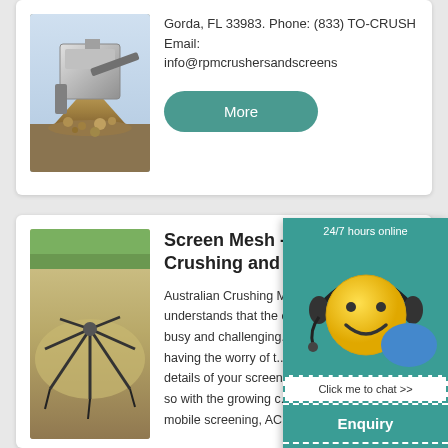[Figure (photo): Photo of a rock crushing machine with pile of crushed aggregate/gravel]
Gorda, FL 33983. Phone: (833) TO-CRUSH Email: info@rpmcrushersandscreens
More
[Figure (photo): Aerial photo of a screen mesh spread over a sandy/gravel pit area with equipment arms visible]
Screen Mesh - A... Crushing and M...
Australian Crushing M... understands that the c... busy and challenging... having the worry of t... details of your screen... so with the growing c... mobile screening, AC...
[Figure (infographic): Live chat widget overlay showing smiley face mascot with headset, '24/7 hours online' label, 'Click me to chat >>' button, 'Enquiry' section, and email superbrian707@gr...]